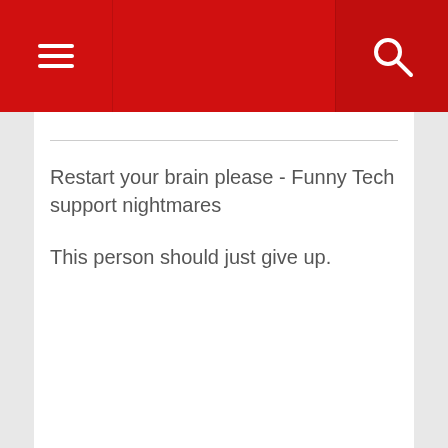[hamburger menu icon] [search icon]
Restart your brain please - Funny Tech support nightmares
This person should just give up.